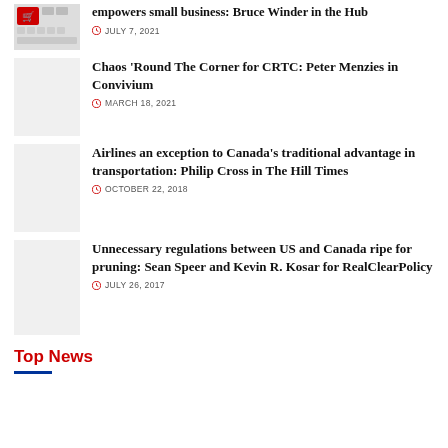[Figure (photo): Keyboard with red shopping cart key]
empowers small business: Bruce Winder in the Hub
JULY 7, 2021
[Figure (photo): Light gray placeholder thumbnail]
Chaos 'Round The Corner for CRTC: Peter Menzies in Convivium
MARCH 18, 2021
[Figure (photo): Light gray placeholder thumbnail]
Airlines an exception to Canada's traditional advantage in transportation: Philip Cross in The Hill Times
OCTOBER 22, 2018
[Figure (photo): Light gray placeholder thumbnail]
Unnecessary regulations between US and Canada ripe for pruning: Sean Speer and Kevin R. Kosar for RealClearPolicy
JULY 26, 2017
Top News